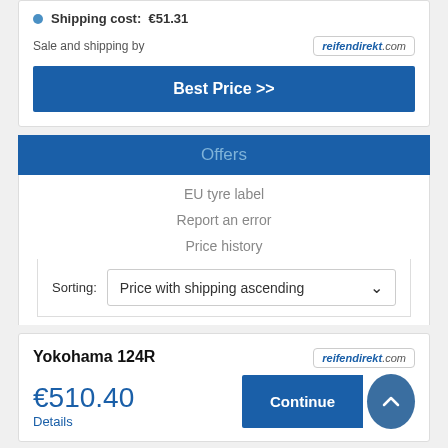Shipping cost: €51.31
Sale and shipping by
[Figure (logo): reifendirekt.com logo badge]
Best Price >>
Offers
EU tyre label
Report an error
Price history
Sorting:  Price with shipping ascending
Yokohama 124R
[Figure (logo): reifendirekt.com logo badge]
€510.40
Details
Continue